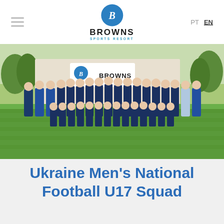BROWNS SPORTS RESORT | PT  EN
[Figure (photo): Group team photo of Ukraine Men's National Football U17 Squad on a grass field in front of a Browns Sports Resort banner. Players and coaches in navy/yellow tracksuits, some kneeling in front row.]
Ukraine Men's National Football U17 Squad